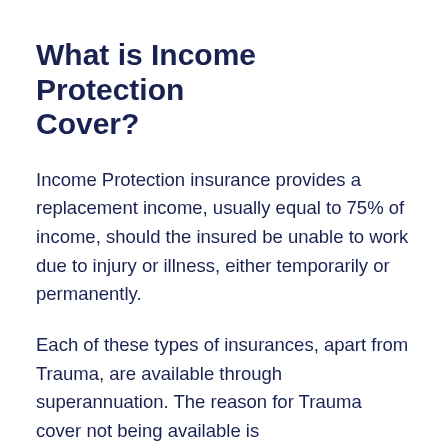What is Income Protection Cover?
Income Protection insurance provides a replacement income, usually equal to 75% of income, should the insured be unable to work due to injury or illness, either temporarily or permanently.
Each of these types of insurances, apart from Trauma, are available through superannuation. The reason for Trauma cover not being available is